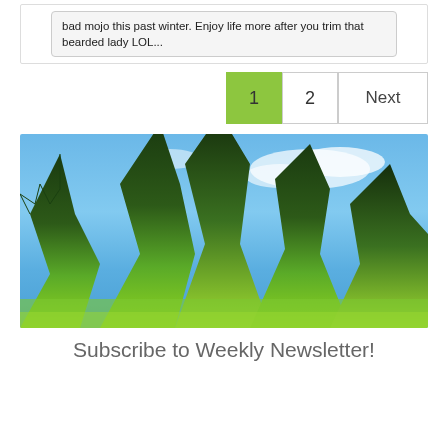bad mojo this past winter. Enjoy life more after you trim that bearded lady LOL...
1  2  Next
[Figure (photo): Close-up photo of cannabis/marijuana leaves against a blue sky with clouds. The leaves are bright green at the bottom fading to darker green at the top, backlit by sunlight.]
Subscribe to Weekly Newsletter!